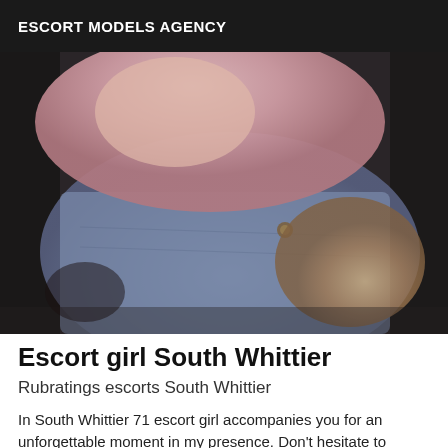ESCORT MODELS AGENCY
[Figure (photo): Close-up photo of a person wearing a pink top and denim shorts]
Escort girl South Whittier
Rubratings escorts South Whittier
In South Whittier 71 escort girl accompanies you for an unforgettable moment in my presence. Don't hesitate to